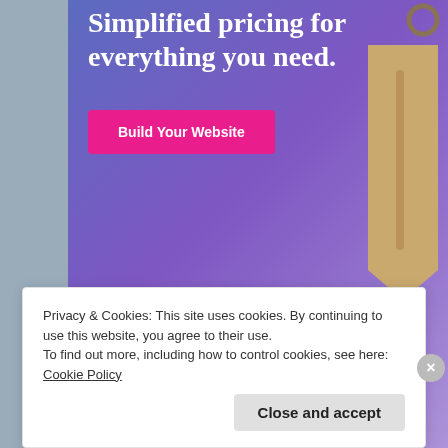[Figure (screenshot): WordPress.com advertisement banner with gradient blue-purple background, text 'Simplified pricing for everything you need.', a pink 'Build Your Website' button, a price tag illustration, and WordPress.com logo at the bottom.]
Share this:
Facebook
Twitter
Tumblr
Email
Privacy & Cookies: This site uses cookies. By continuing to use this website, you agree to their use.
To find out more, including how to control cookies, see here: Cookie Policy
Close and accept